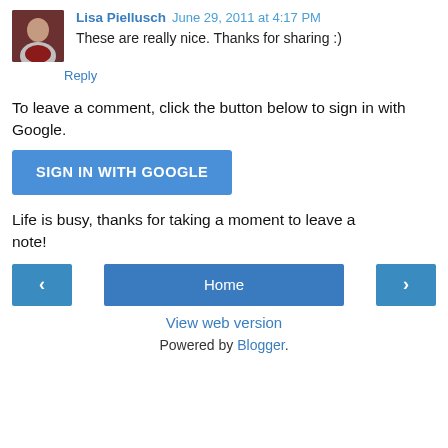Lisa Piellusch June 29, 2011 at 4:17 PM
These are really nice. Thanks for sharing :)
Reply
To leave a comment, click the button below to sign in with Google.
SIGN IN WITH GOOGLE
Life is busy, thanks for taking a moment to leave a note!
< Home >
View web version
Powered by Blogger.